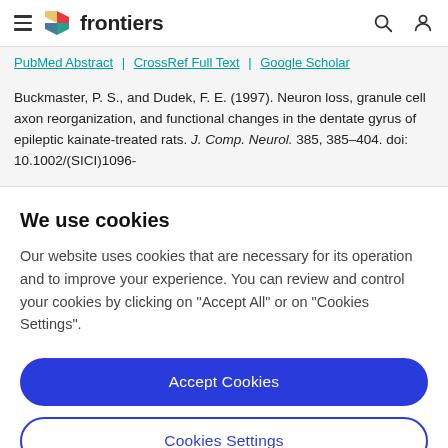frontiers
PubMed Abstract | CrossRef Full Text | Google Scholar
Buckmaster, P. S., and Dudek, F. E. (1997). Neuron loss, granule cell axon reorganization, and functional changes in the dentate gyrus of epileptic kainate-treated rats. J. Comp. Neurol. 385, 385–404. doi: 10.1002/(SICI)1096-
We use cookies
Our website uses cookies that are necessary for its operation and to improve your experience. You can review and control your cookies by clicking on "Accept All" or on "Cookies Settings".
Accept Cookies
Cookies Settings